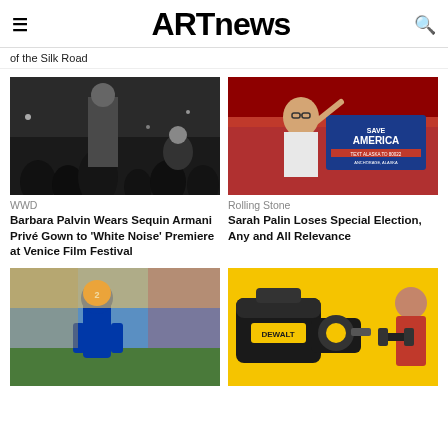ARTnews
of the Silk Road
[Figure (photo): People at a film premiere event, photographers and attendees in dark clothing]
WWD
Barbara Palvin Wears Sequin Armani Privé Gown to 'White Noise' Premiere at Venice Film Festival
[Figure (photo): Sarah Palin at a Save America rally in Anchorage, Alaska, pointing upward at a podium]
Rolling Stone
Sarah Palin Loses Special Election, Any and All Relevance
[Figure (photo): Florida Gators football player number 2 running on the field]
[Figure (photo): DeWalt tools bag and equipment on yellow background with man holding dumbbells]